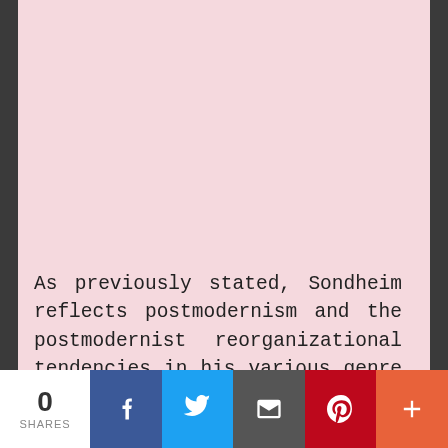[Figure (other): Large pink/rose colored rectangle background area occupying the top portion of the page]
As previously stated, Sondheim reflects postmodernism and the postmodernist reorganizational tendencies in his various genre experiments and pushing the boundaries of temporality within his own
0 SHARES | Facebook | Twitter | Email | Pinterest | More